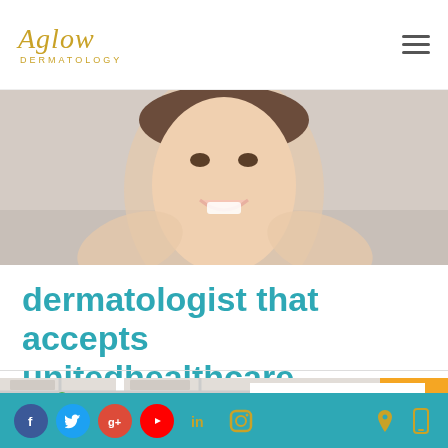[Figure (logo): Aglow Dermatology logo in gold script with DERMATOLOGY in small caps below]
[Figure (photo): Smiling woman holding her hands up to frame her face on a grey background — hero banner image]
dermatologist that accepts unitedhealthcare
[Figure (infographic): Map graphic with green pins on left side, and a white box on right with the text 'Looking for a' in bold black]
Footer with social media icons (Facebook, Twitter, Google+, YouTube, LinkedIn, Instagram) and location/phone icons on right